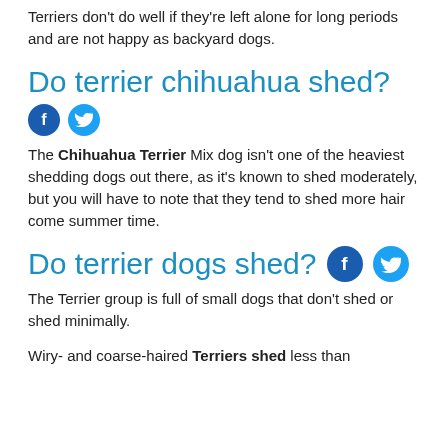Terriers don't do well if they're left alone for long periods and are not happy as backyard dogs.
Do terrier chihuahua shed?
[Figure (other): Facebook and Twitter social share icons (blue circles with f and bird logos)]
The Chihuahua Terrier Mix dog isn't one of the heaviest shedding dogs out there, as it's known to shed moderately, but you will have to note that they tend to shed more hair come summer time.
Do terrier dogs shed?
[Figure (other): Facebook and Twitter social share icons inline with heading]
The Terrier group is full of small dogs that don't shed or shed minimally.
Wiry- and coarse-haired Terriers shed less than